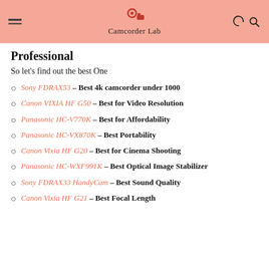Camcorder Lab
Professional
So let's find out the best One
Sony FDRAX53 – Best 4k camcorder under 1000
Canon VIXIA HF G50 – Best for Video Resolution
Panasonic HC-V770K – Best for Affordability
Panasonic HC-VX870K – Best Portability
Canon Vixia HF G20 – Best for Cinema Shooting
Panasonic HC-WXF991K – Best Optical Image Stabilizer
Sony FDRAX33 HandyCam – Best Sound Quality
Canon Vixia HF G21 – Best Focal Length